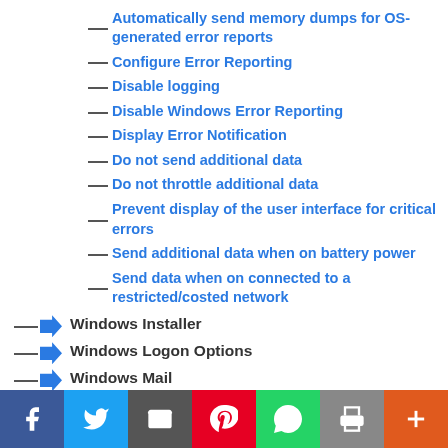Automatically send memory dumps for OS-generated error reports
Configure Error Reporting
Disable logging
Disable Windows Error Reporting
Display Error Notification
Do not send additional data
Do not throttle additional data
Prevent display of the user interface for critical errors
Send additional data when on battery power
Send data when on connected to a restricted/costed network
Windows Installer
Windows Logon Options
Windows Mail
Windows Media Center
Windows Media Digital Rights Management
Windows Media Player